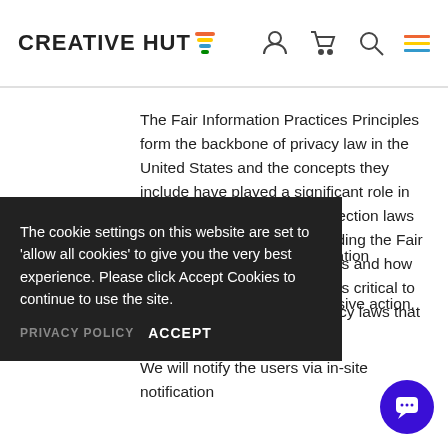CREATIVE HUT
The Fair Information Practices Principles form the backbone of privacy law in the United States and the concepts they include have played a significant role in the development of data protection laws around the globe. Understanding the Fair Information Practice Principles and how they should be implemented is critical to comply with the various privacy laws that protect personal information.
The cookie settings on this website are set to 'allow all cookies' to give you the very best experience. Please click Accept Cookies to continue to use the site.
PRIVACY POLICY   ACCEPT
In order to use all this information Practices we will take the following responsive action, should a data
We will notify the users via in-site notification